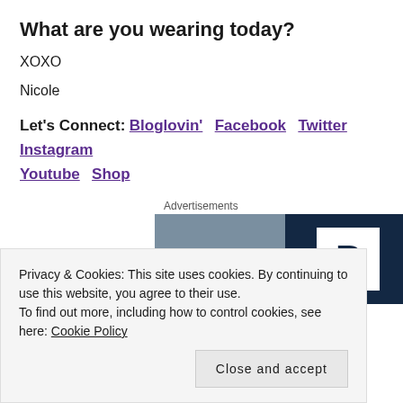What are you wearing today?
XOXO
Nicole
Let's Connect:  Bloglovin'  Facebook  Twitter  Instagram  Youtube  Shop
[Figure (photo): Advertisement banner image split into two halves: left side shows a blurred outdoor scene, right side shows a dark navy background with a large white letter P in a speech bubble shape.]
Privacy & Cookies: This site uses cookies. By continuing to use this website, you agree to their use.
To find out more, including how to control cookies, see here: Cookie Policy